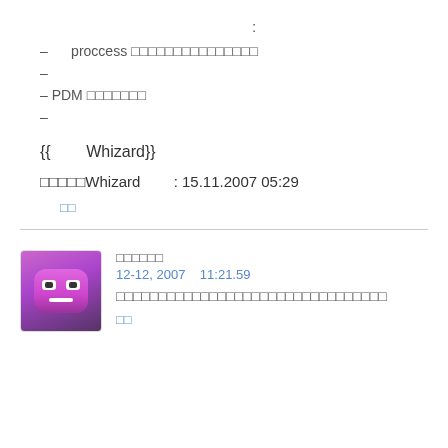:
– proccess □□□□□□□□□□□□□□□
–
– PDM □□□□□□□
–
{{ Whizard}}
□□□□□Whizard : 15.11.2007 05:29
□□
□□□□□□
12-12, 2007   11:21.59
□□□□□□□□□□□□□□□□□□□□□□□□□□□□□□
□□